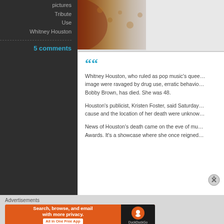pictures
Tribute
Use
Whitney Houston
5 comments
[Figure (photo): Photo of a person wearing a red leather jacket and leopard print, cropped view of arm and clothing]
Whitney Houston, who ruled as pop music's queen...image were ravaged by drug use, erratic behavior...Bobby Brown, has died. She was 48.
Houston's publicist, Kristen Foster, said Saturday...cause and the location of her death were unknown.
News of Houston's death came on the eve of music...Awards. It's a showcase where she once reigned.
Advertisements
[Figure (screenshot): DuckDuckGo advertisement banner: Search, browse, and email with more privacy. All in One Free App]